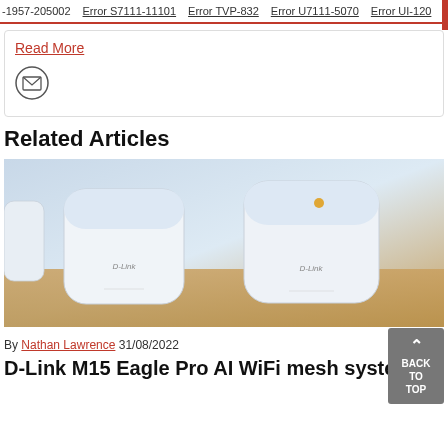-1957-205002  Error S7111-11101  Error TVP-832  Error U7111-5070  Error UI-120
Read More
[Figure (illustration): Mail/envelope icon inside a circle]
Related Articles
[Figure (photo): Two white D-Link M15 Eagle Pro AI WiFi mesh router units sitting on a wooden table, photographed from above at an angle. Both devices are white with rounded square shapes and D-Link branding on the front. The right unit has a small amber LED indicator light on top.]
By Nathan Lawrence 31/08/2022
D-Link M15 Eagle Pro AI WiFi mesh system